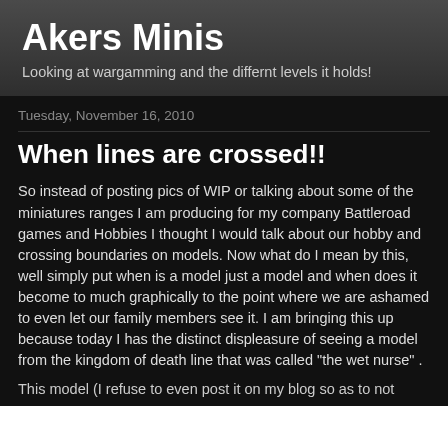Akers Minis
Looking at wargamming and the differnt levels it holds!
Tuesday, November 16, 2010
When lines are crossed!!
So instead of posting pics of WIP or talking about some of the miniatures ranges I am producing for my company Battleroad games and Hobbies I thought I would talk about our hobby and crossing boundaries on models. Now what do I mean by this, well simply put when is a model just a model and when does it become to much graphically to the point where we are ashamed to even let our family members see it. I am bringing this up because today I has the distinct displeasure of seeing a model from the kingdom of death line that was called  "the wet nurse" .
This model (I refuse to even post it on my blog so as to not